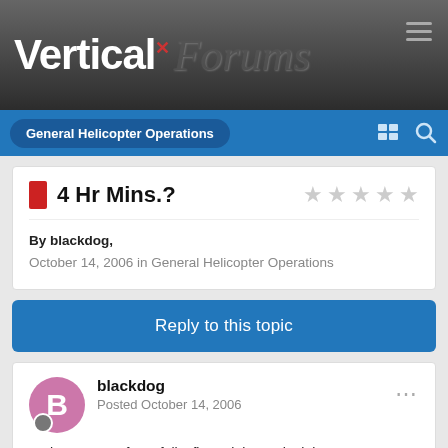[Figure (logo): Vertical Forums website logo with hamburger menu icon on dark grey gradient header]
General Helicopter Operations
4 Hr Mins.?
By blackdog,
October 14, 2006 in General Helicopter Operations
Reply to this topic
blackdog
Posted October 14, 2006
So how many of you folks figure it is worth sitting at an IA Base from 08:00 to 21:00 for 4 hour mins. which may or may not be...